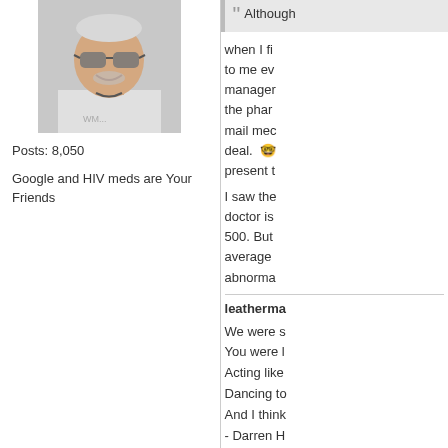[Figure (photo): Profile photo of a person wearing sunglasses and a white t-shirt, smiling]
Posts: 8,050
Google and HIV meds are Your Friends
Although [truncated quote box]
when I fi... to me ev... manager... the phar... mail mec... deal. [emoji] present t...
I saw the... doctor is... 500. But... average... abnorma...
leatherma...
We were s... You were l... Acting like... Dancing to... And I think... - Darren H...